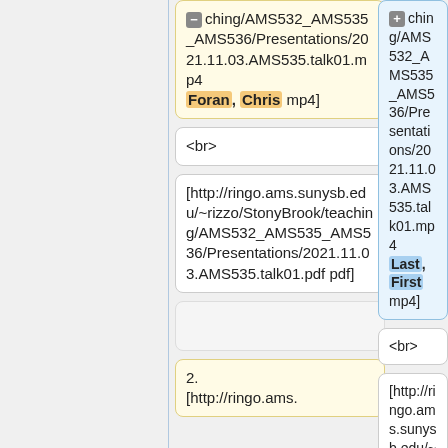ching/AMS532_AMS535_AMS536/Presentations/2021.11.03.AMS535.talk01.mp4 Foran, Chris mp4]
ching/AMS532_AMS535_AMS536/Presentations/2021.11.03.AMS535.talk01.mp4 Last, First mp4]
<br>
<br>
[http://ringo.ams.sunysb.edu/~rizzo/StonyBrook/teaching/AMS532_AMS535_AMS536/Presentations/2021.11.03.AMS535.talk01.pdf pdf]
[http://ringo.ams.sunysb.edu/~rizzo/StonyBrook/teaching/AMS532_AMS535_AMS536/Presentations/2021.11.03.AMS535.talk01.pdf pdf]
2. [http://ringo.ams.
2. [http://ringo.ams.